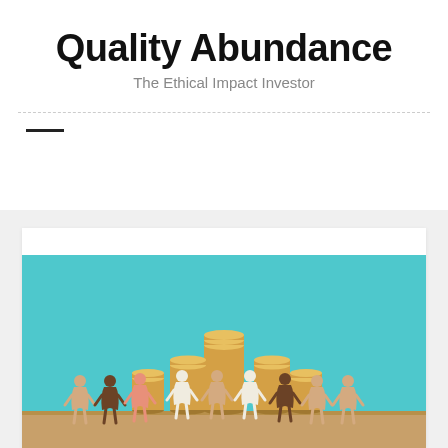Quality Abundance
The Ethical Impact Investor
[Figure (photo): Paper cutout figures of people holding hands in a chain, standing in front of stacked gold coins arranged in ascending heights, against a teal/cyan blue background. Illustrates community, diversity, and ethical impact investing themes.]